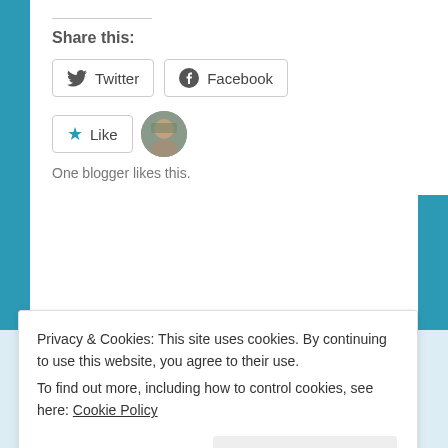Share this:
Twitter  Facebook
[Figure (other): Like button with star icon and a small circular avatar photo of a blogger]
One blogger likes this.
[Figure (photo): Circular profile photo of a person with green hair in a light blue section]
Privacy & Cookies: This site uses cookies. By continuing to use this website, you agree to their use.
To find out more, including how to control cookies, see here: Cookie Policy
Close and accept